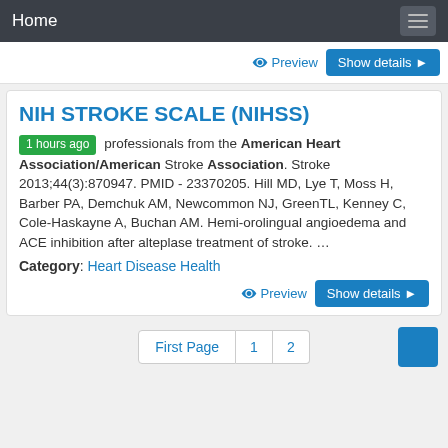Home
Preview   Show details
NIH STROKE SCALE (NIHSS)
1 hours ago professionals from the American Heart Association/American Stroke Association. Stroke 2013;44(3):870947. PMID - 23370205. Hill MD, Lye T, Moss H, Barber PA, Demchuk AM, Newcommon NJ, GreenTL, Kenney C, Cole-Haskayne A, Buchan AM. Hemi-orolingual angioedema and ACE inhibition after alteplase treatment of stroke. ...
Category: Heart Disease Health
Preview   Show details
First Page  1  2